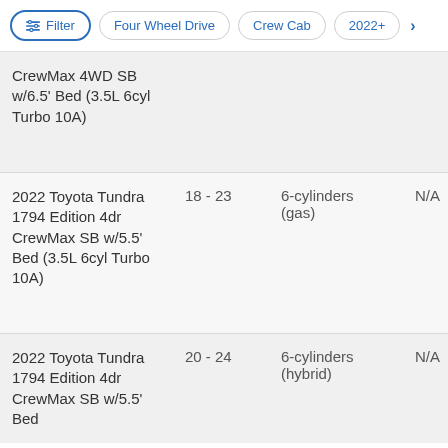Filter | Four Wheel Drive | Crew Cab | 2022+
| Model | MPG | Engine |  |
| --- | --- | --- | --- |
| CrewMax 4WD SB w/6.5' Bed (3.5L 6cyl Turbo 10A) |  |  |  |
| 2022 Toyota Tundra 1794 Edition 4dr CrewMax SB w/5.5' Bed (3.5L 6cyl Turbo 10A) | 18 - 23 | 6-cylinders (gas) | N/A |
| 2022 Toyota Tundra 1794 Edition 4dr CrewMax SB w/5.5' Bed | 20 - 24 | 6-cylinders (hybrid) | N/A |